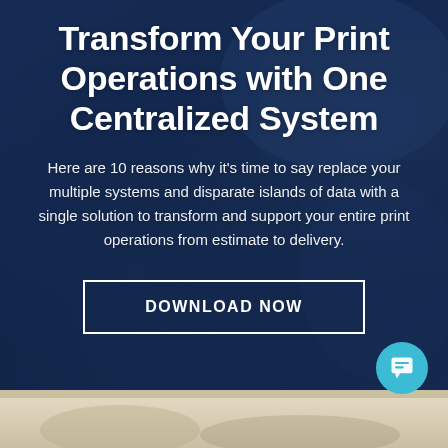Transform Your Print Operations with One Centralized System
Here are 10 reasons why it’s time to say replace your multiple systems and disparate islands of data with a single solution to transform and support your entire print operations from estimate to delivery.
DOWNLOAD NOW
[Figure (photo): Dark navy blue background with faint overlay of a person working with documents and a tablet/phone, creating a business/office atmosphere]